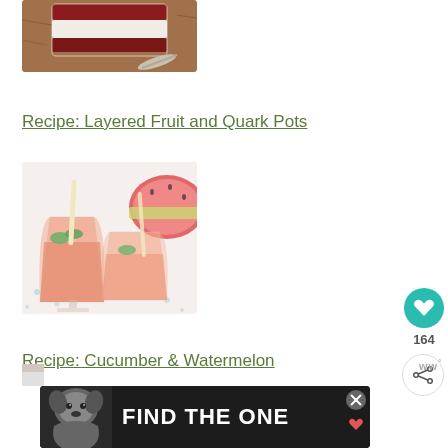[Figure (photo): Layered fruit and quark pot dessert in a glass with a spoon on a wooden board]
Recipe: Layered Fruit and Quark Pots
[Figure (photo): Two glasses of cucumber and watermelon juice with a straw and mint garnish, watermelon slice in background]
Recipe: Cucumber & Watermelon
[Figure (photo): Partial image at bottom left]
[Figure (screenshot): Ad banner with dog image and text FIND THE ONE with heart icon]
ww°